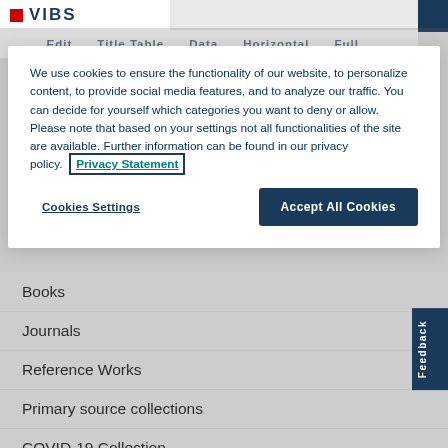VIBS
Edit... Title Table... Data... Horizontal... Full...
We use cookies to ensure the functionality of our website, to personalize content, to provide social media features, and to analyze our traffic. You can decide for yourself which categories you want to deny or allow. Please note that based on your settings not all functionalities of the site are available. Further information can be found in our privacy policy. Privacy Statement
Cookies Settings
Accept All Cookies
Books
Journals
Reference Works
Primary source collections
COVID-19 Collection